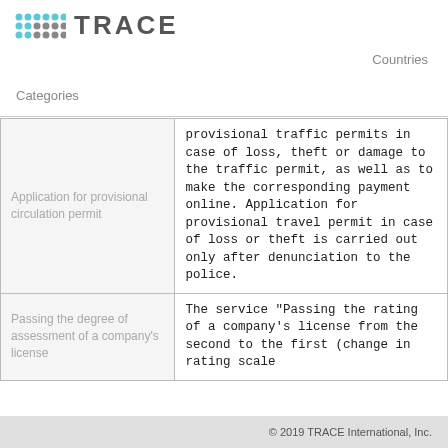TRACE
Countries
Categories
| Categories | Description |
| --- | --- |
| Application for provisional circulation permit | provisional traffic permits in case of loss, theft or damage to the traffic permit, as well as to make the corresponding payment online. Application for provisional travel permit in case of loss or theft is carried out only after denunciation to the police. |
| Passing the degree of assessment of a company's license | The service "Passing the rating of a company's license from the second to the first (change in rating scale |
© 2019 TRACE International, Inc.